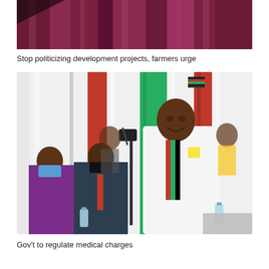[Figure (photo): Partial view of a person seated at a gathering with a maroon/purple background fabric visible — top portion only]
Stop politicizing development projects, farmers urge
[Figure (photo): A man in a white shirt with Kenyan flag stripe stands at a microphone speaking at an indoor public event. Behind him are red, white and green draped fabrics. Seated to his left are attendees wearing face masks including a woman in a purple outfit and a man in a dark suit with red tie.]
Gov't to regulate medical charges